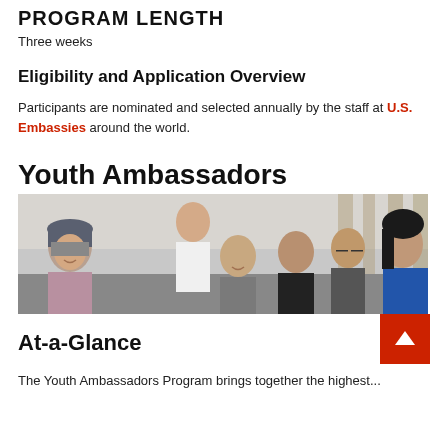PROGRAM LENGTH
Three weeks
Eligibility and Application Overview
Participants are nominated and selected annually by the staff at U.S. Embassies around the world.
Youth Ambassadors
[Figure (photo): Group of young people and an older adult sitting together, smiling and talking in an informal setting.]
At-a-Glance
The Youth Ambassadors Program brings together the highest...